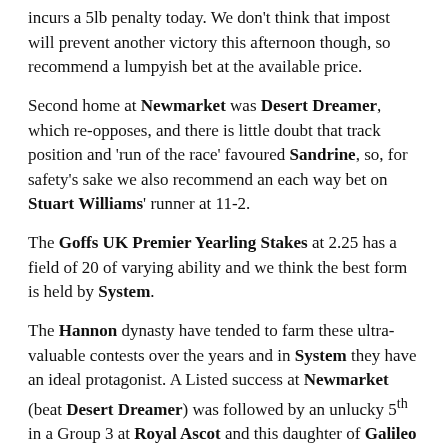incurs a 5lb penalty today. We don't think that impost will prevent another victory this afternoon though, so recommend a lumpyish bet at the available price.
Second home at Newmarket was Desert Dreamer, which re-opposes, and there is little doubt that track position and 'run of the race' favoured Sandrine, so, for safety's sake we also recommend an each way bet on Stuart Williams' runner at 11-2.
The Goffs UK Premier Yearling Stakes at 2.25 has a field of 20 of varying ability and we think the best form is held by System.
The Hannon dynasty have tended to farm these ultra-valuable contests over the years and in System they have an ideal protagonist. A Listed success at Newmarket (beat Desert Dreamer) was followed by an unlucky 5th in a Group 3 at Royal Ascot and this daughter of Galileo Gold meets nothing of that calibre today – at least we hope she doesn't.
At 5-1 and 5 places on offer, we suggest an each way bash.